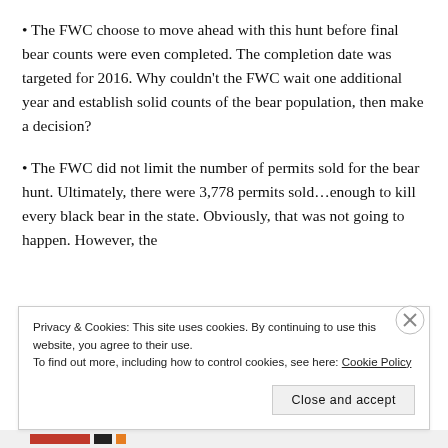The FWC choose to move ahead with this hunt before final bear counts were even completed. The completion date was targeted for 2016. Why couldn't the FWC wait one additional year and establish solid counts of the bear population, then make a decision?
The FWC did not limit the number of permits sold for the bear hunt. Ultimately, there were 3,778 permits sold…enough to kill every black bear in the state. Obviously, that was not going to happen. However, the
Privacy & Cookies: This site uses cookies. By continuing to use this website, you agree to their use.
To find out more, including how to control cookies, see here: Cookie Policy
Close and accept